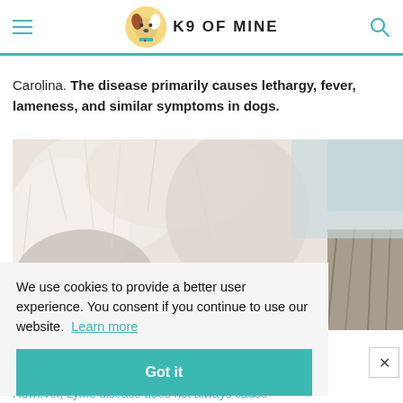K9 OF MINE
Carolina. The disease primarily causes lethargy, fever, lameness, and similar symptoms in dogs.
[Figure (photo): Close-up photo of a white fluffy dog with a tick visible on its fur]
We use cookies to provide a better user experience. You consent if you continue to use our website. Learn more
However, Lyme disease does not always cause